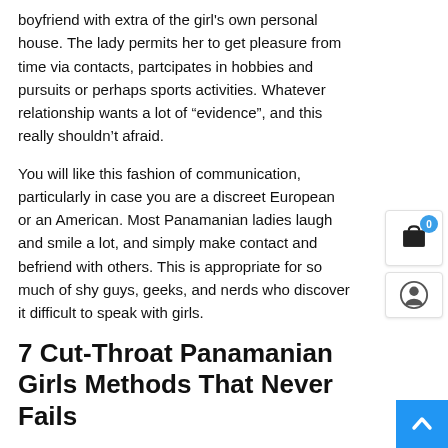boyfriend with extra of the girl's own personal house. The lady permits her to get pleasure from time via contacts, partcipates in hobbies and pursuits or perhaps sports activities. Whatever relationship wants a lot of “evidence”, and this really shouldn’t afraid.
You will like this fashion of communication, particularly in case you are a discreet European or an American. Most Panamanian ladies laugh and smile a lot, and simply make contact and befriend with others. This is appropriate for so much of shy guys, geeks, and nerds who discover it difficult to speak with girls.
7 Cut-Throat Panamanian Girls Methods That Never Fails
So, it’s simpler to meet wonderful Panamanian singles b